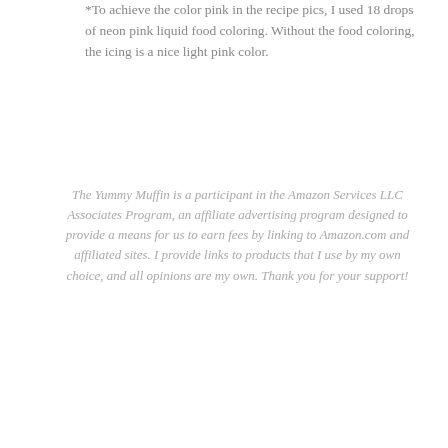*To achieve the color pink in the recipe pics, I used 18 drops of neon pink liquid food coloring. Without the food coloring, the icing is a nice light pink color.
The Yummy Muffin is a participant in the Amazon Services LLC Associates Program, an affiliate advertising program designed to provide a means for us to earn fees by linking to Amazon.com and affiliated sites. I provide links to products that I use by my own choice, and all opinions are my own. Thank you for your support!